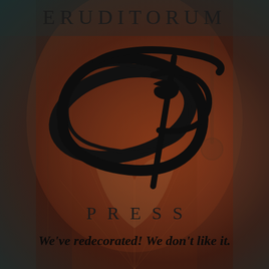[Figure (logo): Eruditorum Press logo on a stylized fantasy background — a dark teal and warm orange-red backdrop with faint illustration of a figure and architectural elements. A large stylized 'E' or 'EP' cursive monogram in black occupies the center. The word ERUDITORUM appears at the top in spaced serif capitals, PRESS appears below the monogram in widely letter-spaced serif capitals, and the tagline 'We've redecorated! We don't like it.' appears at the bottom in bold italic serif.]
ERUDITORUM
PRESS
We've redecorated! We don't like it.